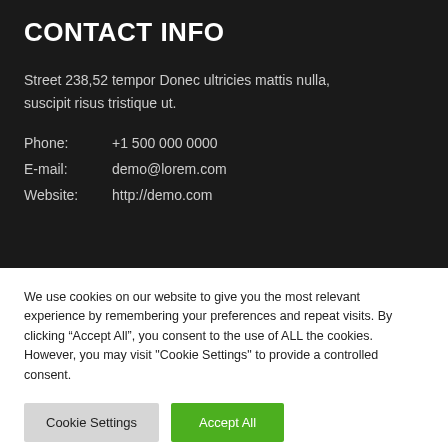CONTACT INFO
Street 238,52 tempor Donec ultricies mattis nulla, suscipit risus tristique ut.
Phone: +1 500 000 0000
E-mail: demo@lorem.com
Website: http://demo.com
We use cookies on our website to give you the most relevant experience by remembering your preferences and repeat visits. By clicking “Accept All”, you consent to the use of ALL the cookies. However, you may visit "Cookie Settings" to provide a controlled consent.
Cookie Settings | Accept All